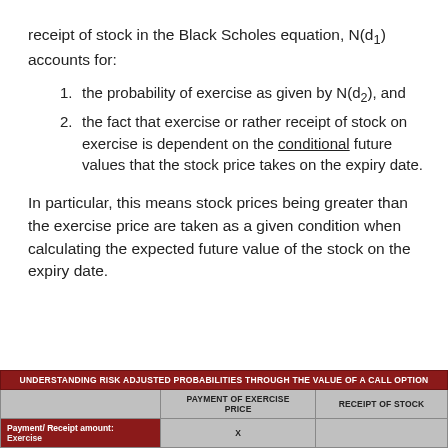receipt of stock in the Black Scholes equation, N(d₁) accounts for:
1. the probability of exercise as given by N(d₂), and
2. the fact that exercise or rather receipt of stock on exercise is dependent on the conditional future values that the stock price takes on the expiry date.
In particular, this means stock prices being greater than the exercise price are taken as a given condition when calculating the expected future value of the stock on the expiry date.
|  | PAYMENT OF EXERCISE PRICE | RECEIPT OF STOCK |
| --- | --- | --- |
| Payment/ Receipt amount: Exercise | X |  |